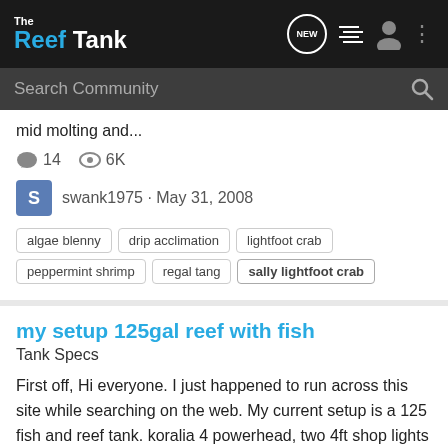The Reef Tank
mid molting and...
14  6K
swank1975 · May 31, 2008
algae blenny
drip acclimation
lightfoot crab
peppermint shrimp
regal tang
sally lightfoot crab
my setup 125gal reef with fish
Tank Specs
First off, Hi everyone. I just happened to run across this site while searching on the web. My current setup is a 125 fish and reef tank. koralia 4 powerhead, two 4ft shop lights with 2 40w 6500k actinic and 2 18000k lights. impatiently awaiting the arrival of a 250w 20000k metal halide bulb for...